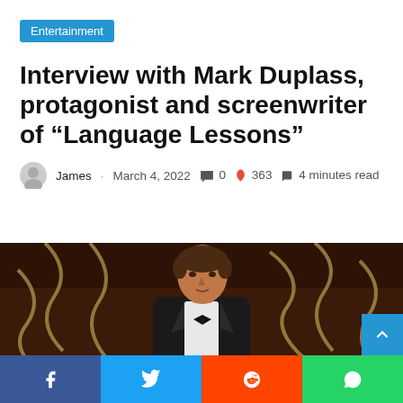Entertainment
Interview with Mark Duplass, protagonist and screenwriter of “Language Lessons”
James · March 4, 2022 💬0 🔥 363 🔖 4 minutes read
[Figure (photo): Photo of Mark Duplass in a tuxedo with bow tie, seated against a wooden background with rope decorations]
Facebook Twitter Reddit WhatsApp share buttons